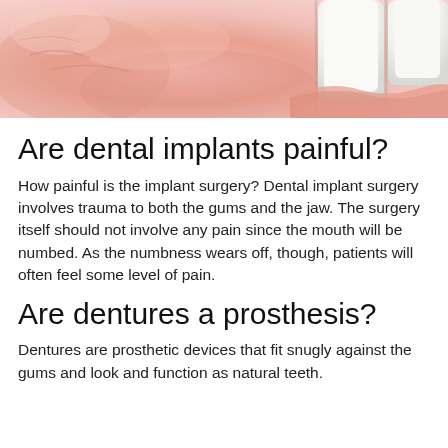[Figure (photo): Close-up photo of gums and white teeth against pink gum tissue, showing a dental/implant context]
Are dental implants painful?
How painful is the implant surgery? Dental implant surgery involves trauma to both the gums and the jaw. The surgery itself should not involve any pain since the mouth will be numbed. As the numbness wears off, though, patients will often feel some level of pain.
Are dentures a prosthesis?
Dentures are prosthetic devices that fit snugly against the gums and look and function as natural teeth.